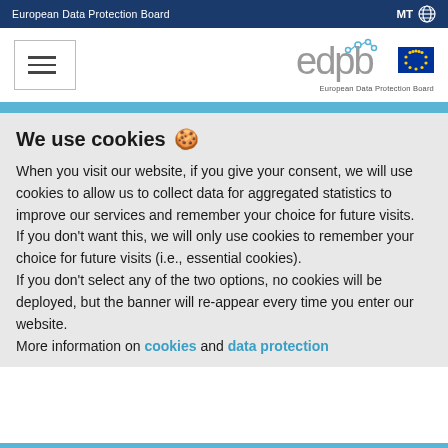European Data Protection Board | MT
[Figure (logo): EDPB logo with hamburger menu on left and edpb text logo with EU flag on right, subtitle: European Data Protection Board]
We use cookies 🍪
When you visit our website, if you give your consent, we will use cookies to allow us to collect data for aggregated statistics to improve our services and remember your choice for future visits.
If you don't want this, we will only use cookies to remember your choice for future visits (i.e., essential cookies).
If you don't select any of the two options, no cookies will be deployed, but the banner will re-appear every time you enter our website.
More information on cookies and data protection